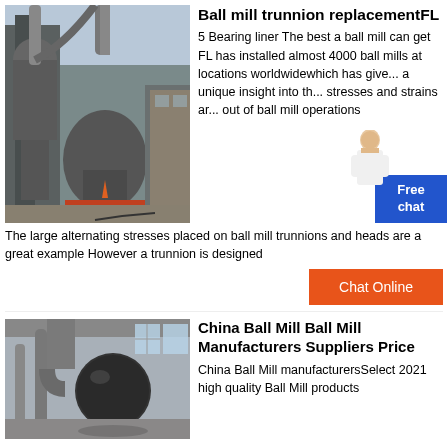[Figure (photo): Industrial ball mill equipment outdoors with large pipes and grey machinery on a red metal stand, stone building in background]
Ball mill trunnion replacementFL
5 Bearing liner The best a ball mill can get FL has installed almost 4000 ball mills at locations worldwidewhich has give... a unique insight into th... stresses and strains ar... out of ball mill operations
The large alternating stresses placed on ball mill trunnions and heads are a great example However a trunnion is designed
[Figure (other): Chat widget with customer service avatar and blue Free chat button]
[Figure (other): Orange Chat Online button]
[Figure (photo): Industrial ball mill equipment inside a factory building with pipes and large black cylindrical mill]
China Ball Mill Ball Mill Manufacturers Suppliers Price
China Ball Mill manufacturersSelect 2021 high quality Ball Mill products